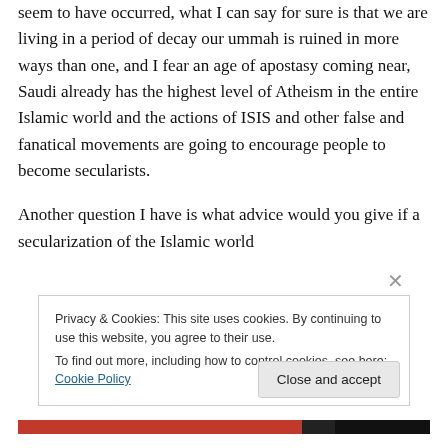seem to have occurred, what I can say for sure is that we are living in a period of decay our ummah is ruined in more ways than one, and I fear an age of apostasy coming near, Saudi already has the highest level of Atheism in the entire Islamic world and the actions of ISIS and other false and fanatical movements are going to encourage people to become secularists.
Another question I have is what advice would you give if a secularization of the Islamic world
Privacy & Cookies: This site uses cookies. By continuing to use this website, you agree to their use.
To find out more, including how to control cookies, see here: Cookie Policy